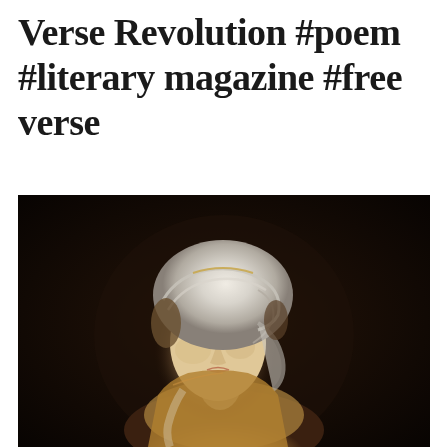Verse Revolution #poem #literary magazine #free verse
[Figure (illustration): Classical oil painting portrait of a young woman with upward gaze, wearing a white draped turban/headwrap and golden/ochre garment. Dark background. Style reminiscent of Baroque or Neoclassical portraiture.]